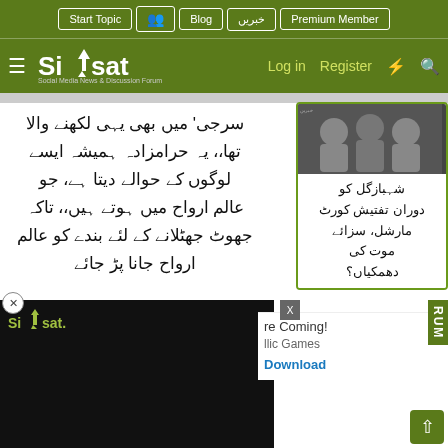Siasat.pk - Social Media News & Discussion Forum navigation bar with: Start Topic, Blog, خبریں, Premium Member, Log in, Register
[Figure (screenshot): Siasat.pk website header with green navigation bar showing Start Topic, Blog, خبریں, Premium Member links, and logo with Log in, Register options]
سرجی' میں بھی یہی لکھنے والا تھا،، یہ حرامزادہ ہمیشہ ایسے لوگوں کے حوالے دیتا ہے، جو عالم ارواح میں ہوتے ہیں،، تاکہ جھوٹ جھٹلانے کے لئے بندے کو عالم ارواح جانا پڑ جائے
[Figure (screenshot): Sidebar card showing news thumbnails with people in discussion and Urdu text about Shahbaz Gill receiving threats during court martial investigation]
شہبازگل کو دوران تفتیش کورٹ مارشل، سزائے موت کی دھمکیاں؟
[Figure (screenshot): Black video player overlay with Siasat logo in bottom left]
re Coming!
llic Games
Download